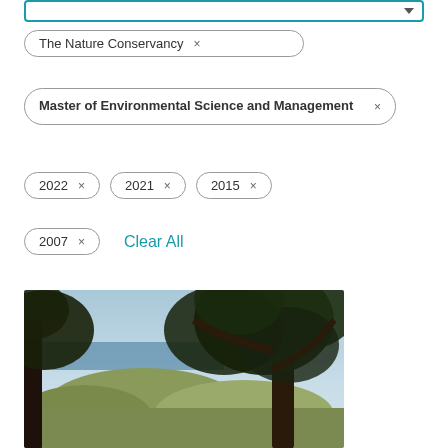[Figure (screenshot): Search filter bar with dropdown arrow at top of page]
The Nature Conservancy  ×
Master of Environmental Science and Management  ×
2022  ×
2021  ×
2015  ×
2007  ×
Clear All
[Figure (photo): Landscape photo of a large oak tree in foreground with rolling hills and ocean view in background under a clear sky]